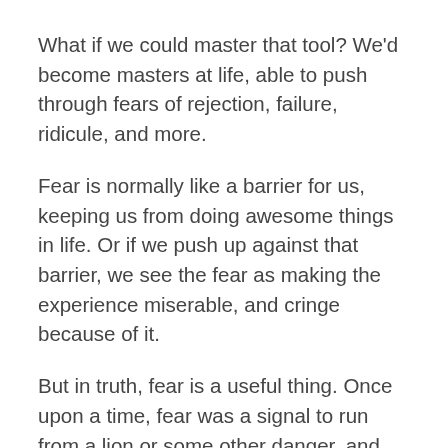What if we could master that tool? We'd become masters at life, able to push through fears of rejection, failure, ridicule, and more.
Fear is normally like a barrier for us, keeping us from doing awesome things in life. Or if we push up against that barrier, we see the fear as making the experience miserable, and cringe because of it.
But in truth, fear is a useful thing. Once upon a time, fear was a signal to run from a lion or some other danger, and that was pretty useful. These days, we don't usually have much physical danger (the lions have more to fear from us), but the same fear signals still happen, even when we're trying to pursue our dreams or becoming vulnerable to others.